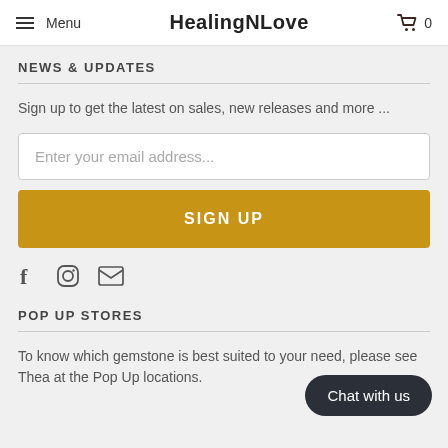Menu | HealingNLove | 0
NEWS & UPDATES
Sign up to get the latest on sales, new releases and more ...
Enter your email address...
SIGN UP
[Figure (other): Social media icons: Facebook (f), Instagram (circle camera), Email (envelope)]
POP UP STORES
To know which gemstone is best suited to your need, please see Thea at the Pop Up locations.
Chat with us